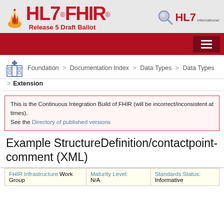[Figure (logo): HL7 FHIR Release 5 Draft Ballot logo with flame icon]
HL7 FHIR Release 5 Draft Ballot
Foundation > Documentation Index > Data Types > Data Types > Extension
This is the Continuous Integration Build of FHIR (will be incorrect/inconsistent at times). See the Directory of published versions
Example StructureDefinition/contactpoint-comment (XML)
| FHIR Infrastructure Work Group | Maturity Level: N/A | Standards Status: Informative |
| --- | --- | --- |